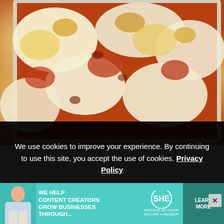[Figure (photo): Close-up photo of baked lasagna with melted cheese, tomato sauce and meat filling in a white baking dish]
We use cookies to improve your experience. By continuing to use this site, you accept the use of cookies. Privacy Policy
Accept
I love to make a chilli for a vegan potluck, not only because it's delicious, but because it can also be enjoyed SO many ways! Serve it as it is, or use atop a
[Figure (infographic): Advertisement banner: WE HELP CONTENT CREATORS GROW BUSINESSES THROUGH... with SHE Partner Network logo and LEARN MORE button]